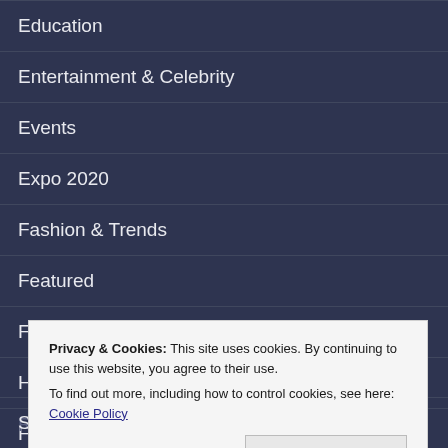Education
Entertainment & Celebrity
Events
Expo 2020
Fashion & Trends
Featured
Food & Dining
Health Care
Hotels & Hosppitality
Privacy & Cookies: This site uses cookies. By continuing to use this website, you agree to their use.
To find out more, including how to control cookies, see here: Cookie Policy
Close and accept